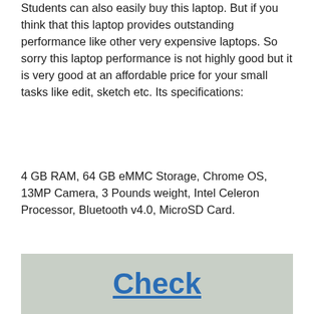Students can also easily buy this laptop. But if you think that this laptop provides outstanding performance like other very expensive laptops. So sorry this laptop performance is not highly good but it is very good at an affordable price for your small tasks like edit, sketch etc. Its specifications:
4 GB RAM, 64 GB eMMC Storage, Chrome OS, 13MP Camera, 3 Pounds weight, Intel Celeron Processor, Bluetooth v4.0, MicroSD Card.
[Figure (other): A light grey rounded rectangle button with bold blue underlined text reading 'Check']